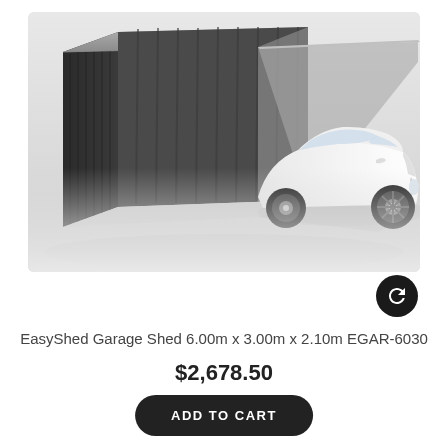[Figure (photo): Product photo of a dark grey EasyShed Garage Shed (6.00m x 3.00m x 2.10m EGAR-6030) with an open front showing a white car parked partially inside. The shed has corrugated metal walls and a flat/low-pitch roof. Grey background.]
EasyShed Garage Shed 6.00m x 3.00m x 2.10m EGAR-6030
$2,678.50
ADD TO CART